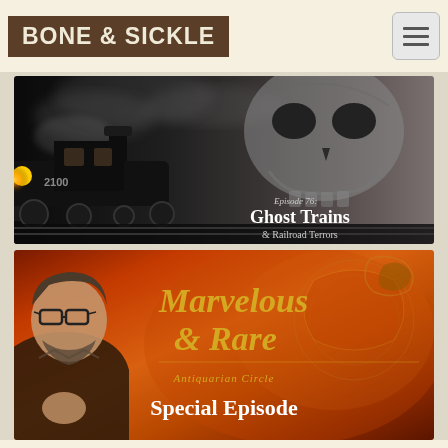BONE & SICKLE
[Figure (illustration): Episode 76: Ghost Trains & Railroad Terrors — dark atmospheric image of a steam locomotive (number 2100) with smoke and a large skull looming in the background]
[Figure (illustration): Marvelous & Rare Antiquarian Circle Special Episode — warm amber/red toned image featuring a man with glasses and beard on the left, ornate background with bird motifs, golden text overlay]